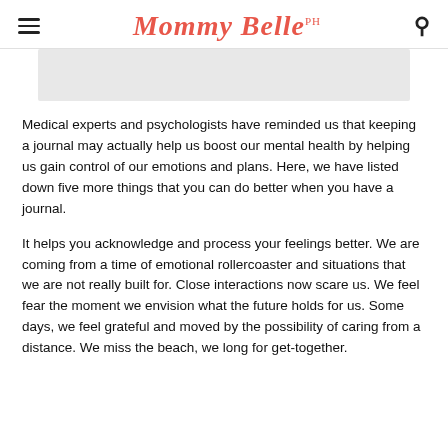Mommy Belle PH
[Figure (photo): Gray placeholder image area at top of article]
Medical experts and psychologists have reminded us that keeping a journal may actually help us boost our mental health by helping us gain control of our emotions and plans. Here, we have listed down five more things that you can do better when you have a journal.
It helps you acknowledge and process your feelings better. We are coming from a time of emotional rollercoaster and situations that we are not really built for. Close interactions now scare us. We feel fear the moment we envision what the future holds for us. Some days, we feel grateful and moved by the possibility of caring from a distance. We miss the beach, we long for get-together.